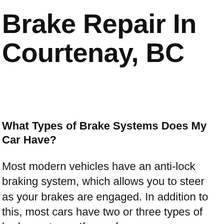Brake Repair In Courtenay, BC
What Types of Brake Systems Does My Car Have?
Most modern vehicles have an anti-lock braking system, which allows you to steer as your brakes are engaged. In addition to this, most cars have two or three types of brake systems. If any of